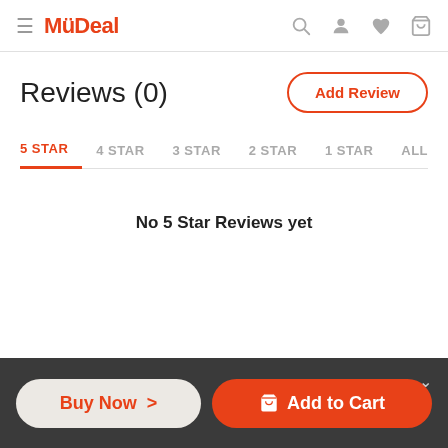MyDeal
Reviews (0)
Add Review
5 STAR  4 STAR  3 STAR  2 STAR  1 STAR  ALL
No 5 Star Reviews yet
Buy Now >   Add to Cart